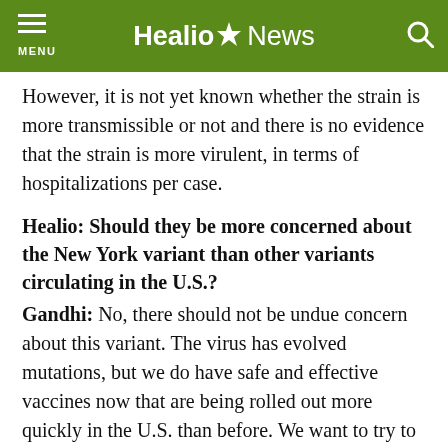MENU | Healio News
However, it is not yet known whether the strain is more transmissible or not and there is no evidence that the strain is more virulent, in terms of hospitalizations per case.
Healio: Should they be more concerned about the New York variant than other variants circulating in the U.S.?
Gandhi: No, there should not be undue concern about this variant. The virus has evolved mutations, but we do have safe and effective vaccines now that are being rolled out more quickly in the U.S. than before. We want to try to roll out vaccines in a “race” against these variants; by providing immunity to the population, the virus — no matter its mutations — will slow down and stop infecting our population. So, we have the solution; we now